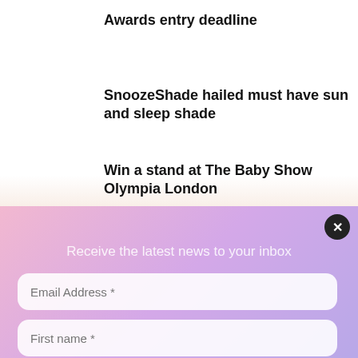Awards entry deadline
SnoozeShade hailed must have sun and sleep shade
Win a stand at The Baby Show Olympia London
Receive the latest news to your inbox
Email Address *
First name *